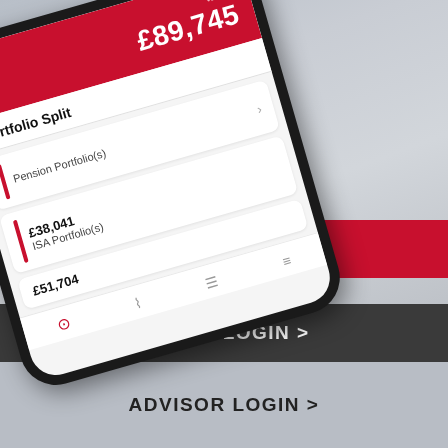[Figure (screenshot): Smartphone app screenshot showing portfolio split with total value £89,745 today, Pension Portfolio(s) and ISA Portfolio(s) with values £38,041 and £51,704 respectively]
CONTACT US >
CLIENT LOGIN >
ADVISOR LOGIN >